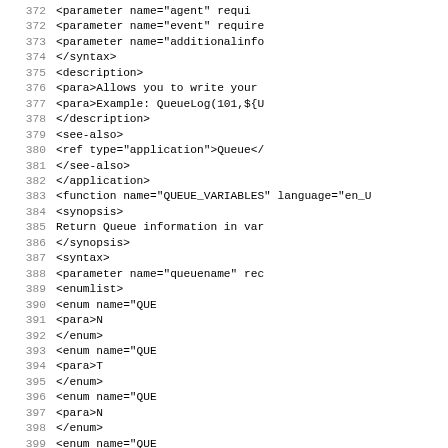Code listing lines 372-403 showing XML structure for application/function definitions including parameter, syntax, description, see-also, and function elements for QUEUE_VARIABLES